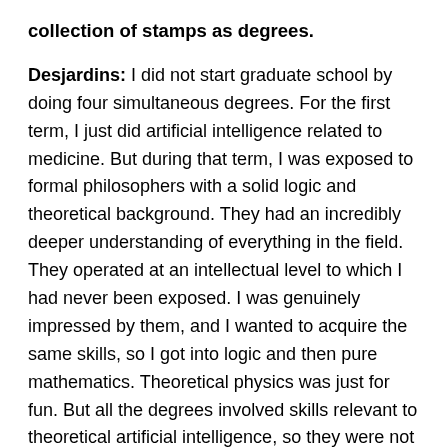collection of stamps as degrees.
Desjardins: I did not start graduate school by doing four simultaneous degrees. For the first term, I just did artificial intelligence related to medicine. But during that term, I was exposed to formal philosophers with a solid logic and theoretical background. They had an incredibly deeper understanding of everything in the field. They operated at an intellectual level to which I had never been exposed. I was genuinely impressed by them, and I wanted to acquire the same skills, so I got into logic and then pure mathematics. Theoretical physics was just for fun. But all the degrees involved skills relevant to theoretical artificial intelligence, so they were not a collection of random degrees. They also involved topics in which I had a long-time interest.